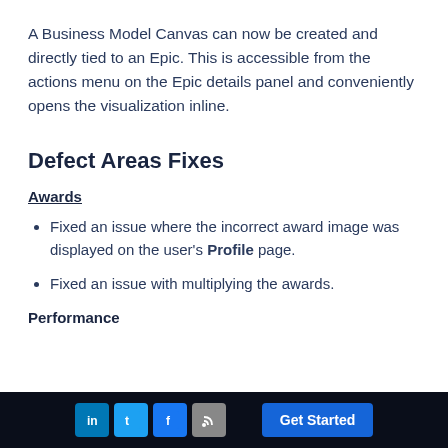A Business Model Canvas can now be created and directly tied to an Epic. This is accessible from the actions menu on the Epic details panel and conveniently opens the visualization inline.
Defect Areas Fixes
Awards
Fixed an issue where the incorrect award image was displayed on the user's Profile page.
Fixed an issue with multiplying the awards.
Performance
LinkedIn | Twitter | Facebook | RSS | Get Started